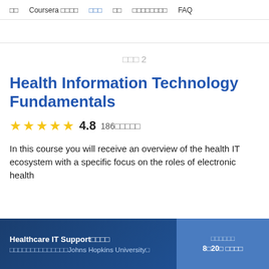□□  Coursera □□□□  □□□  □□  □□□□□□□□  FAQ
□□□ 2
Health Information Technology Fundamentals
★★★★★ 4.8  186□□□□□
In this course you will receive an overview of the health IT ecosystem with a specific focus on the roles of electronic health
Healthcare IT Support□□□□  □□□□□□□□□□□□□□Johns Hopkins University□
□□□□□□  8□20□ □□□□